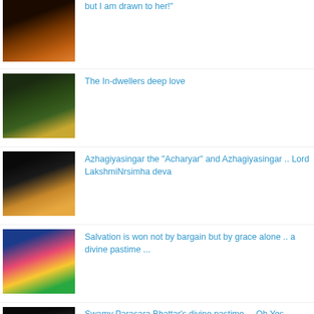[Figure (photo): Fire/lamp ritual photo thumbnail]
but I am drawn to her!"
[Figure (photo): Forest/nature with idol thumbnail]
The In-dwellers deep love
[Figure (photo): Black background with idol statues thumbnail]
Azhagiyasingar the "Acharyar" and Azhagiyasingar .. Lord LakshmiNrsimha deva
[Figure (photo): Colorful deity illustration thumbnail]
Salvation is won not by bargain but by grace alone .. a divine pastime ...
[Figure (photo): Dark idol/deity photo thumbnail]
Swamy Parasara Bhattar's divine pastime.... Oh Yes , Adiyen would travel to Sri Vaikuntam and have the darsanam of Lord VaikuntanAthan to satisfy my